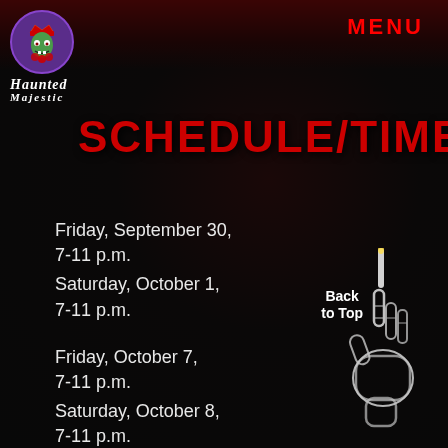MENU
[Figure (logo): Haunted Majestic logo with zombie king in purple circle, text 'Haunted Majestic']
SCHEDULE/TIMES
Friday, September 30, 7-11 p.m.
Saturday, October 1, 7-11 p.m.
Friday, October 7, 7-11 p.m.
Saturday, October 8, 7-11 p.m.
Friday, October 14, 7-11...
Back to Top
[Figure (illustration): Skeleton hand pointing upward illustration]